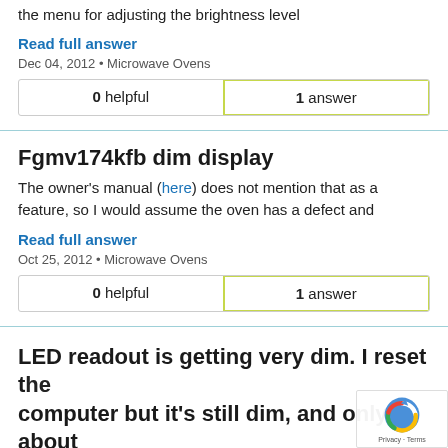the menu for adjusting the brightness level
Read full answer
Dec 04, 2012 • Microwave Ovens
| helpful | answer |
| --- | --- |
| 0 helpful | 1 answer |
Fgmv174kfb dim display
The owner's manual (here) does not mention that as a feature, so I would assume the oven has a defect and
Read full answer
Oct 25, 2012 • Microwave Ovens
| helpful | answer |
| --- | --- |
| 0 helpful | 1 answer |
LED readout is getting very dim. I reset the computer but it's still dim, and only about